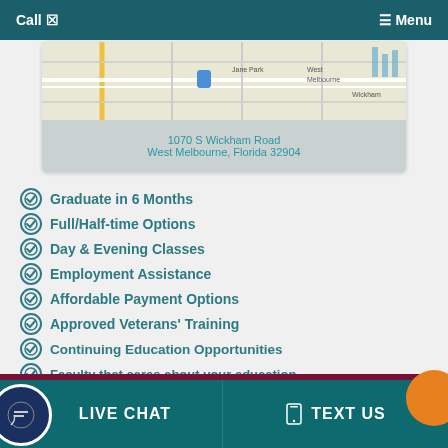Call  ☎  Menu
[Figure (map): Google map showing location near West Melbourne, Florida]
1070 S Wickham Road
West Melbourne, Florida 32904
Graduate in 6 Months
Full/Half-time Options
Day & Evening Classes
Employment Assistance
Affordable Payment Options
Approved Veterans' Training
Continuing Education Opportunities
Faculty that cares about your education
LIVE CHAT   TEXT US